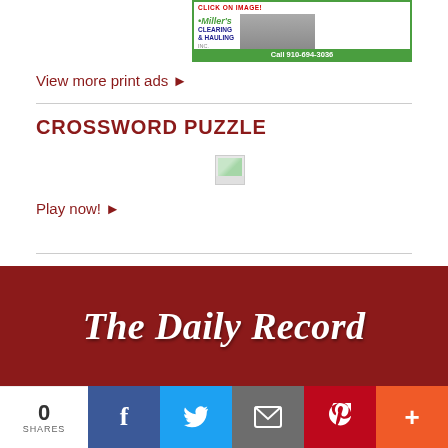[Figure (other): Miller's Clearing & Hauling advertisement banner with truck image and phone number 910-694-3036]
View more print ads ▶
CROSSWORD PUZZLE
[Figure (other): Broken/loading crossword puzzle image placeholder]
Play now! ▶
[Figure (logo): The Daily Record newspaper logo in white text on dark red/maroon background, blackletter style]
0 SHARES
Social share buttons: Facebook, Twitter, Email, Pinterest, More (+)